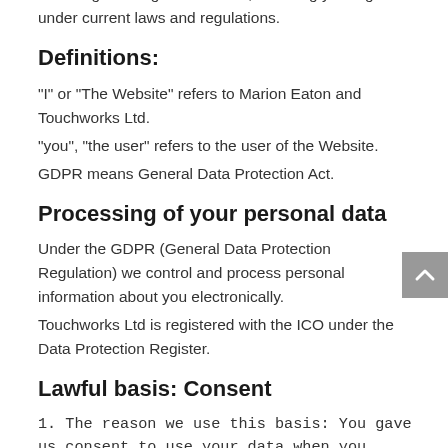browsing or using this Website, including your rights under current laws and regulations.
Definitions:
“I” or “The Website” refers to Marion Eaton and Touchworks Ltd.
“you”, “the user” refers to the user of the Website.
GDPR means General Data Protection Act.
Processing of your personal data
Under the GDPR (General Data Protection Regulation) we control and process personal information about you electronically.
Touchworks Ltd is registered with the ICO under the Data Protection Register.
Lawful basis: Consent
1. The reason we use this basis: You gave us consent to use your data when you